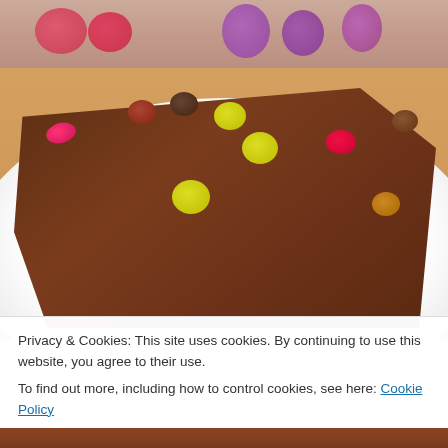[Figure (photo): Partial top photo showing colorful candy eggs (red, pink, purple) on a textured background]
[Figure (photo): Photo of a chocolate brownie topped with colorful candy-coated chocolates (Smarties/M&Ms) on a white plate on a wooden surface]
Privacy & Cookies: This site uses cookies. By continuing to use this website, you agree to their use.
To find out more, including how to control cookies, see here: Cookie Policy
Close and accept
[Figure (photo): Bottom strip of another photo, partially visible]